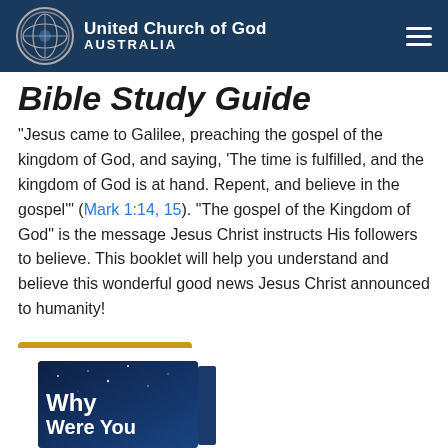United Church of God AUSTRALIA
Bible Study Guide
"Jesus came to Galilee, preaching the gospel of the kingdom of God, and saying, 'The time is fulfilled, and the kingdom of God is at hand. Repent, and believe in the gospel'" (Mark 1:14, 15). "The gospel of the Kingdom of God" is the message Jesus Christ instructs His followers to believe. This booklet will help you understand and believe this wonderful good news Jesus Christ announced to humanity!
Read more...
[Figure (photo): Partial view of a book cover titled 'Why Were You...' with a dark blue/space background]